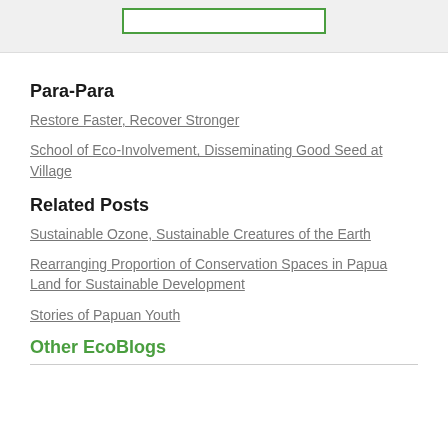[Figure (other): Top gray bar with a green-bordered input box centered at top]
Para-Para
Restore Faster, Recover Stronger
School of Eco-Involvement, Disseminating Good Seed at Village
Related Posts
Sustainable Ozone, Sustainable Creatures of the Earth
Rearranging Proportion of Conservation Spaces in Papua Land for Sustainable Development
Stories of Papuan Youth
Other EcoBlogs